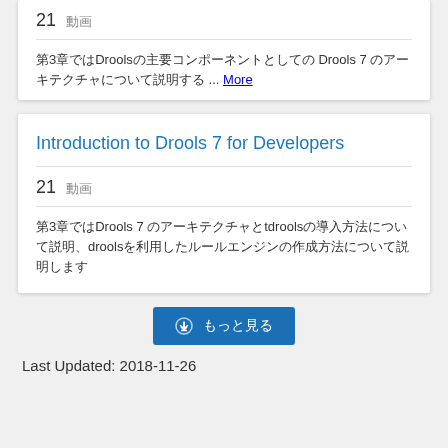21　動画
第3章ではDroolsの主要コンポーネントとしてのDrools 7 のアーキテクチャについて説明する ... More
Introduction to Drools 7 for Developers
21　動画
第3章ではDrools 7 のアーキテクチャとtdroolsの導入方法について説明、Droolsを利用したルールエンジンの作成方法について説明します
⬇ もっと見る
Last Updated: 2018-11-26